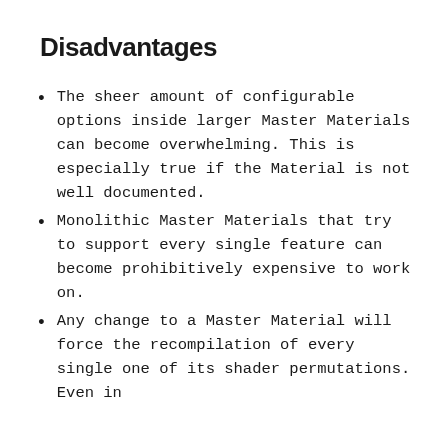Disadvantages
The sheer amount of configurable options inside larger Master Materials can become overwhelming. This is especially true if the Material is not well documented.
Monolithic Master Materials that try to support every single feature can become prohibitively expensive to work on.
Any change to a Master Material will force the recompilation of every single one of its shader permutations. Even in